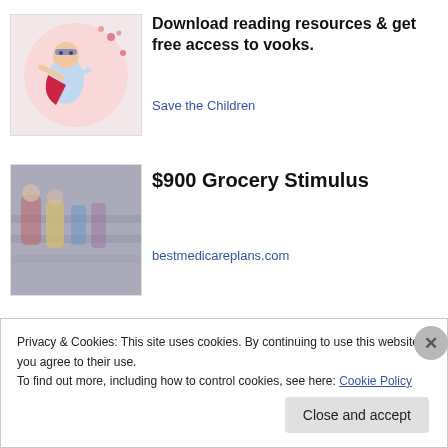[Figure (illustration): Cartoon illustration of a superhero child on a circular background with stars]
Download reading resources & get free access to vooks.
Save the Children
[Figure (photo): Photo of people in a grocery store, blurred]
$900 Grocery Stimulus
bestmedicareplans.com
Privacy & Cookies: This site uses cookies. By continuing to use this website, you agree to their use.
To find out more, including how to control cookies, see here: Cookie Policy
Close and accept